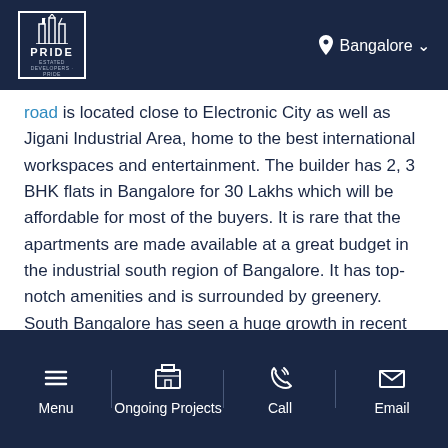PRIDE | Bangalore
road is located close to Electronic City as well as Jigani Industrial Area, home to the best international workspaces and entertainment. The builder has 2, 3 BHK flats in Bangalore for 30 Lakhs which will be affordable for most of the buyers. It is rare that the apartments are made available at a great budget in the industrial south region of Bangalore. It has top-notch amenities and is surrounded by greenery. South Bangalore has seen a huge growth in recent times.
Builder reputation
Menu | Ongoing Projects | Call | Email